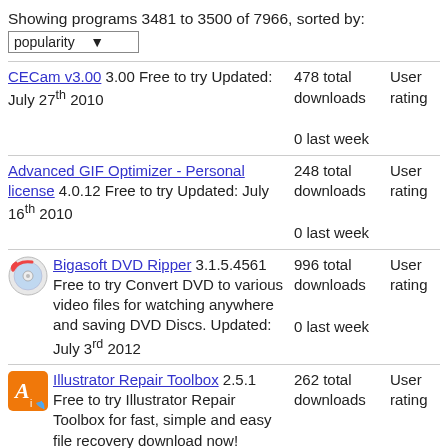Showing programs 3481 to 3500 of 7966, sorted by: popularity
CECam v3.00 3.00 Free to try Updated: July 27th 2010 | 478 total downloads | 0 last week | User rating
Advanced GIF Optimizer - Personal license 4.0.12 Free to try Updated: July 16th 2010 | 248 total downloads | 0 last week | User rating
Bigasoft DVD Ripper 3.1.5.4561 Free to try Convert DVD to various video files for watching anywhere and saving DVD Discs. Updated: July 3rd 2012 | 996 total downloads | 0 last week | User rating
Illustrator Repair Toolbox 2.5.1 Free to try Illustrator Repair Toolbox for fast, simple and easy file recovery download now! | 262 total downloads | User rating